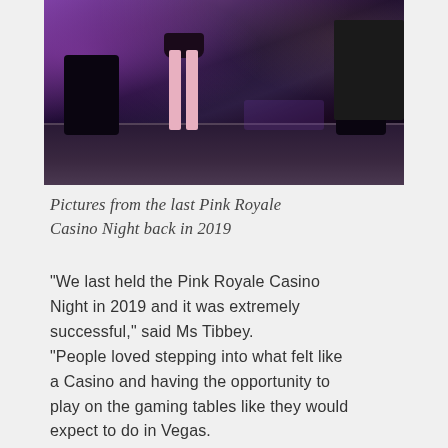[Figure (photo): Photo of a band performing on a dark stage with purple lighting, speaker monitors visible, a person in a short skirt standing center-stage, equipment on the floor]
Pictures from the last Pink Royale Casino Night back in 2019
“We last held the Pink Royale Casino Night in 2019 and it was extremely successful,” said Ms Tibbey.
“People loved stepping into what felt like a Casino and having the opportunity to play on the gaming tables like they would expect to do in Vegas.